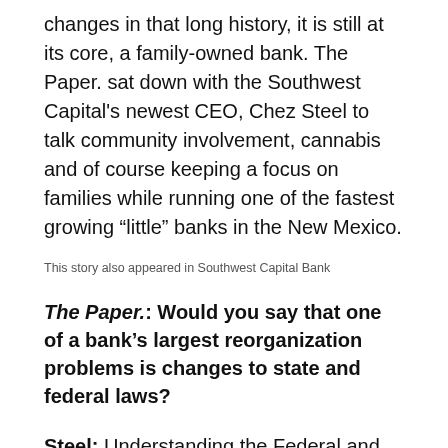changes in that long history, it is still at its core, a family-owned bank. The Paper. sat down with the Southwest Capital's newest CEO, Chez Steel to talk community involvement, cannabis and of course keeping a focus on families while running one of the fastest growing “little” banks in the New Mexico.
This story also appeared in Southwest Capital Bank
The Paper.: Would you say that one of a bank’s largest reorganization problems is changes to state and federal laws?
Steel: Understanding the Federal and State differences. Balancing act!